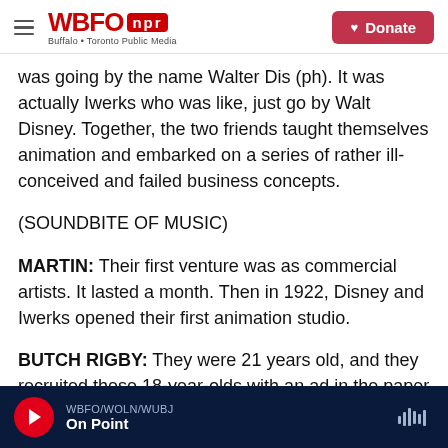WBFO npr — Buffalo + Toronto Public Media | Donate
was going by the name Walter Dis (ph). It was actually Iwerks who was like, just go by Walt Disney. Together, the two friends taught themselves animation and embarked on a series of rather ill-conceived and failed business concepts.
(SOUNDBITE OF MUSIC)
MARTIN: Their first venture was as commercial artists. It lasted a month. Then in 1922, Disney and Iwerks opened their first animation studio.
BUTCH RIGBY: They were 21 years old, and they recruited these 18-year-olds with an ad in the paper
WBFO/WOLN/WUBJ — On Point